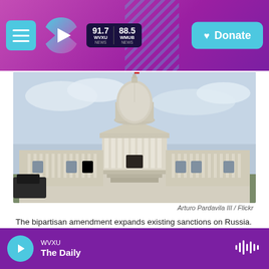WVXU 91.7 NEWS | WMUB 88.5 NEWS | Donate
[Figure (photo): Photograph of the United States Capitol building facade with dome, columns, and steps under a cloudy sky.]
Arturo Pardavila III / Flickr
The bipartisan amendment expands existing sanctions on Russia. The Senate will consider it as part of an Iran sanctions bill that already has wide support.
WVXU The Daily